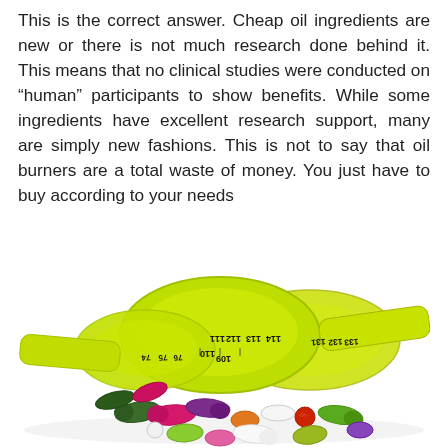This is the correct answer. Cheap oil ingredients are new or there is not much research done behind it. This means that no clinical studies were conducted on "human" participants to show benefits. While some ingredients have excellent research support, many are simply new fashions. This is not to say that oil burners are a total waste of money. You just have to buy according to your needs
[Figure (photo): A coiled yellow-green measuring tape with numbers visible (109–134 range) resting on a white surface next to a scattered assortment of colorful supplement capsules and pills in various shapes and colors including green, pink, purple, orange, white, red, and yellow.]